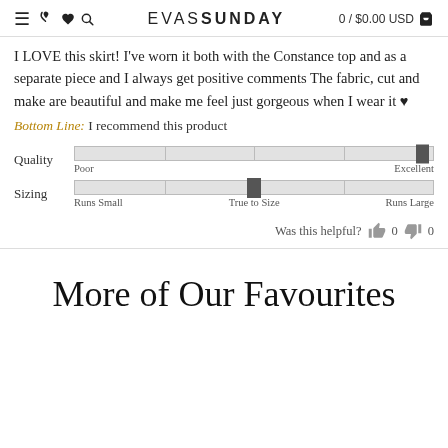≡ 📞 ♥ 🔍 EVASSUNDAY 0 / $0.00 USD 🛒
I LOVE this skirt! I've worn it both with the Constance top and as a separate piece and I always get positive comments The fabric, cut and make are beautiful and make me feel just gorgeous when I wear it ♥
Bottom Line: I recommend this product
[Figure (infographic): Quality slider bar from Poor to Excellent, with indicator positioned near the Excellent end. Sizing slider bar from Runs Small to Runs Large, with indicator positioned at True to Size (center).]
Was this helpful? 👍 0 👎 0
More of Our Favourites